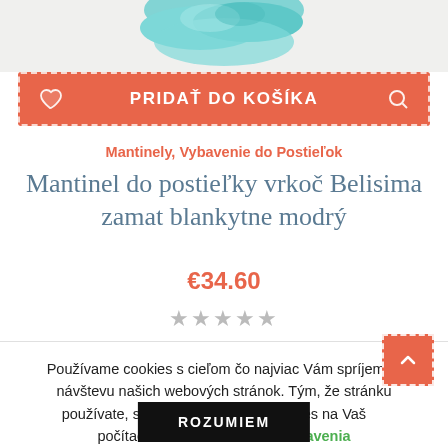[Figure (photo): Teal/light blue braided rope or twisted cord product (mantinel) partially visible at top of image]
PRIDAŤ DO KOŠÍKA
Mantinely, Vybavenie do Postieľok
Mantinel do postieľky vrkoč Belisima zamat blankytne modrý
€34.60
★★★★★
Používame cookies s cieľom čo najviac Vám spríjemniť návštevu našich webových stránok. Tým, že stránku používate, súhlasíte s uložením cookies na Vašom počítači/zariadení.  Cookie nastavenia
ROZUMIEM